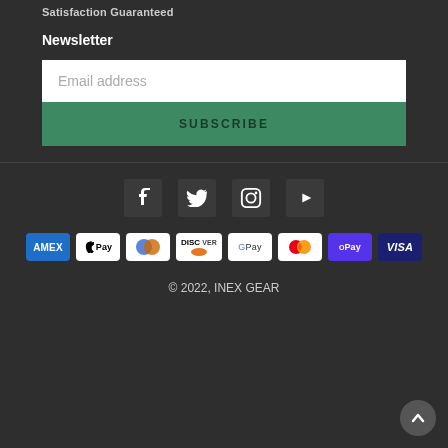Satisfaction Guaranteed
Newsletter
Email address
SUBSCRIBE
[Figure (infographic): Social media icons: Facebook, Twitter, Instagram, YouTube]
[Figure (infographic): Payment method badges: AMEX, Apple Pay, Diners, Discover, Google Pay, Mastercard, Shop Pay, Visa]
© 2022, INEX GEAR